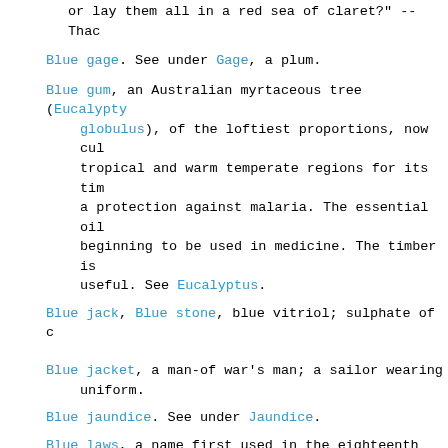or lay them all in a red sea of claret?" --Thac
Blue gage. See under Gage, a plum.
Blue gum, an Australian myrtaceous tree (Eucalyptus globulus), of the loftiest proportions, now cultivated in tropical and warm temperate regions for its timber and as a protection against malaria. The essential oil is beginning to be used in medicine. The timber is very useful. See Eucalyptus.
Blue jack, Blue stone, blue vitriol; sulphate of c
Blue jacket, a man-of war's man; a sailor wearing uniform.
Blue jaundice. See under Jaundice.
Blue laws, a name first used in the eighteenth century to describe certain supposititious laws of extreme strictness reported to have been enacted in New Haven; hor